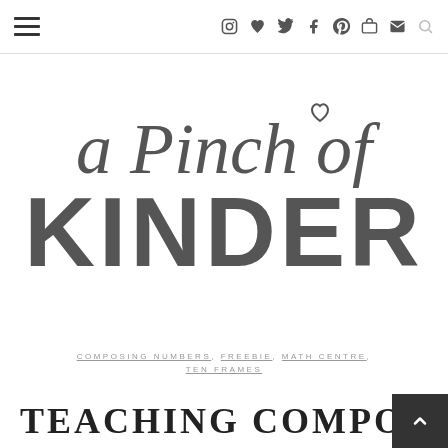≡  [social icons: instagram, heart, twitter, facebook, pinterest, cart, email]  [search]
[Figure (logo): A Pinch of Kinder logo — cursive script 'a Pinch of' above bold sans-serif 'KINDER' with a small heart doodle]
COMPOSING NUMBERS, FREEBIE, MATH CENTRE, TEN FRAMES
TEACHING COMPOSING